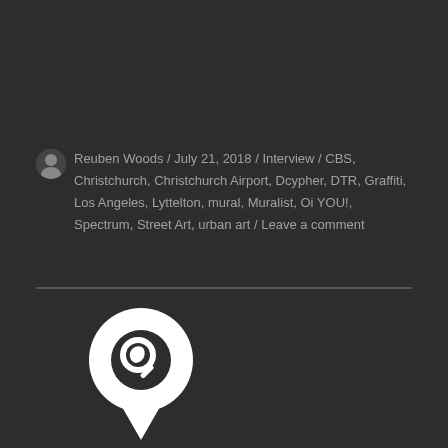Reuben Woods / July 21, 2018 / Interview / CBS, Christchurch, Christchurch Airport, Dcypher, DTR, Graffiti, Los Angeles, Lyttelton, mural, Muralist, Oi YOU!, Spectrum, Street Art, urban art / Leave a comment
[Figure (illustration): White silhouette of a map pin / location marker icon with a magnifying glass and a face profile, on a dark background]